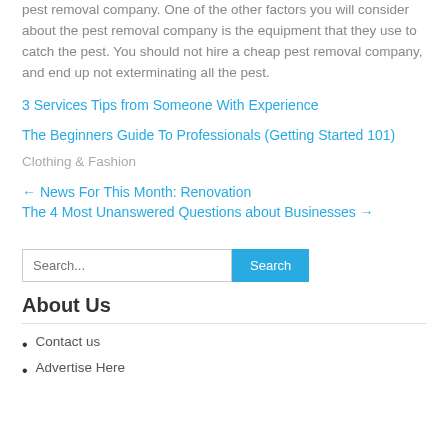pest removal company. One of the other factors you will consider about the pest removal company is the equipment that they use to catch the pest. You should not hire a cheap pest removal company, and end up not exterminating all the pest.
3 Services Tips from Someone With Experience
The Beginners Guide To Professionals (Getting Started 101)
Clothing & Fashion
← News For This Month: Renovation
The 4 Most Unanswered Questions about Businesses →
Search...
About Us
Contact us
Advertise Here